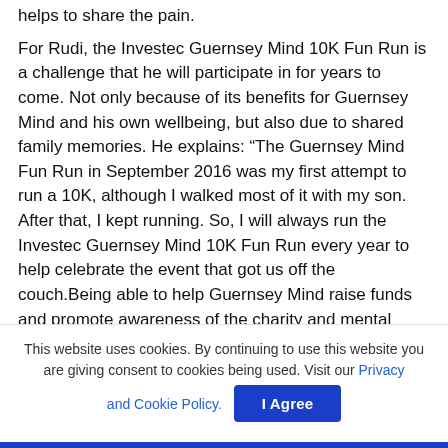helps to share the pain.
For Rudi, the Investec Guernsey Mind 10K Fun Run is a challenge that he will participate in for years to come. Not only because of its benefits for Guernsey Mind and his own wellbeing, but also due to shared family memories. He explains: “The Guernsey Mind Fun Run in September 2016 was my first attempt to run a 10K, although I walked most of it with my son. After that, I kept running. So, I will always run the Investec Guernsey Mind 10K Fun Run every year to help celebrate the event that got us off the couch.Being able to help Guernsey Mind raise funds and promote awareness of the charity and mental wellbeing is a great bonus. It feels fantastic to take part in this event
This website uses cookies. By continuing to use this website you are giving consent to cookies being used. Visit our Privacy and Cookie Policy.